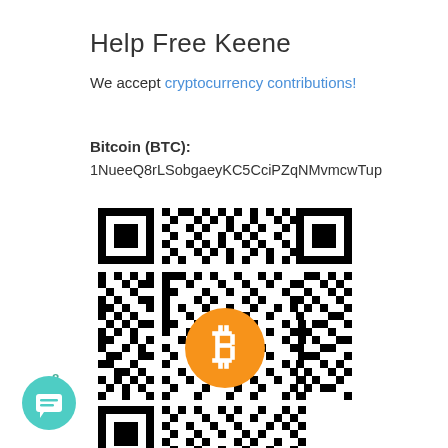Help Free Keene
We accept cryptocurrency contributions!
Bitcoin (BTC):
1NueeQ8rLSobgaeyKC5CciPZqNMvmcwTup
[Figure (other): Bitcoin QR code with orange Bitcoin logo in the center on a black and white QR code pattern]